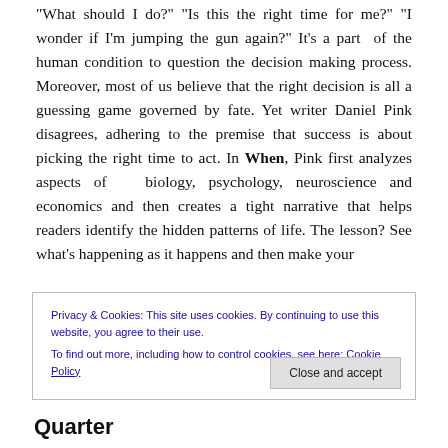"What should I do?" "Is this the right time for me?" "I wonder if I'm jumping the gun again?" It's a part of the human condition to question the decision making process. Moreover, most of us believe that the right decision is all a guessing game governed by fate. Yet writer Daniel Pink disagrees, adhering to the premise that success is about picking the right time to act. In When, Pink first analyzes aspects of biology, psychology, neuroscience and economics and then creates a tight narrative that helps readers identify the hidden patterns of life. The lesson? See what's happening as it happens and then make your
Privacy & Cookies: This site uses cookies. By continuing to use this website, you agree to their use.
To find out more, including how to control cookies, see here: Cookie Policy
Close and accept
Quarter